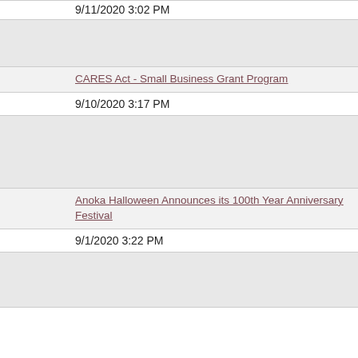9/11/2020 3:02 PM
[Figure (photo): Image placeholder for first news item]
CARES Act - Small Business Grant Program
9/10/2020 3:17 PM
[Figure (photo): Image placeholder for second news item]
Anoka Halloween Announces its 100th Year Anniversary Festival
9/1/2020 3:22 PM
[Figure (photo): Image placeholder for third news item]